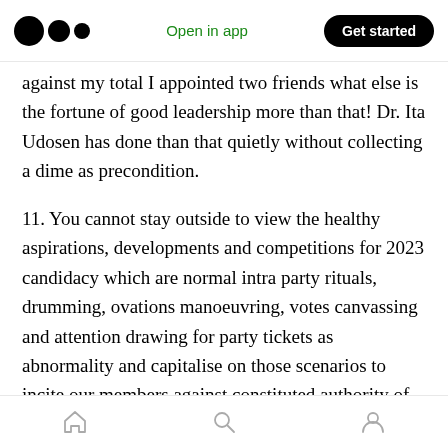Medium app header with logo, Open in app, Get started
against my total I appointed two friends what else is the fortune of good leadership more than that! Dr. Ita Udosen has done than that quietly without collecting a dime as precondition.
11. You cannot stay outside to view the healthy aspirations, developments and competitions for 2023 candidacy which are normal intra party rituals, drumming, ovations manoeuvring, votes canvassing and attention drawing for party tickets as abnormality and capitalise on those scenarios to incite our members against constituted authority of our great party that
Bottom navigation bar with home, search, profile icons